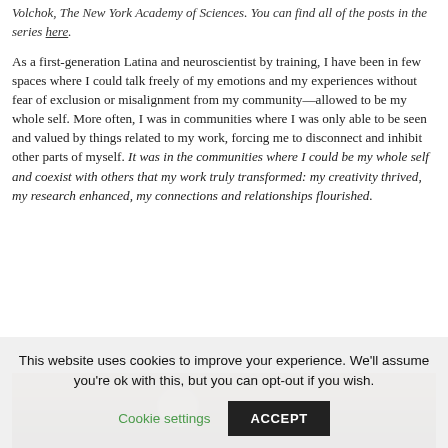Volchok, The New York Academy of Sciences. You can find all of the posts in the series here.
As a first-generation Latina and neuroscientist by training, I have been in few spaces where I could talk freely of my emotions and my experiences without fear of exclusion or misalignment from my community—allowed to be my whole self. More often, I was in communities where I was only able to be seen and valued by things related to my work, forcing me to disconnect and inhibit other parts of myself. It was in the communities where I could be my whole self and coexist with others that my work truly transformed: my creativity thrived, my research enhanced, my connections and relationships flourished.
[Figure (photo): Partial photo strip showing a warm brown/tan background with a circular element visible]
This website uses cookies to improve your experience. We'll assume you're ok with this, but you can opt-out if you wish.